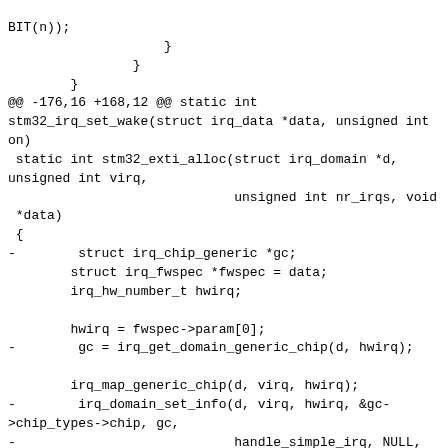BIT(n));
                    }
                }
        }
@@ -176,16 +168,12 @@ static int stm32_irq_set_wake(struct irq_data *data, unsigned int on)
 static int stm32_exti_alloc(struct irq_domain *d, unsigned int virq,
                             unsigned int nr_irqs, void *data)
 {
-        struct irq_chip_generic *gc;
        struct irq_fwspec *fwspec = data;
        irq_hw_number_t hwirq;

        hwirq = fwspec->param[0];
-        gc = irq_get_domain_generic_chip(d, hwirq);

        irq_map_generic_chip(d, virq, hwirq);
-        irq_domain_set_info(d, virq, hwirq, &gc->chip_types->chip, gc,
-                            handle_simple_irq, NULL, NULL);

        return 0;
 }
@@ -200,7 +188,6 @@ static void stm32_exti_free(struct irq_domain *d, unsigned int virq,